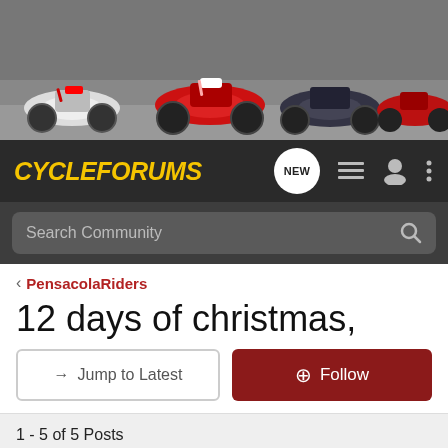[Figure (photo): Banner photo showing multiple motorcycles parked on a road — white/red sport bikes and a dark touring bike]
CycleForums — NEW, list view, user, menu icons; Search Community bar
< PensacolaRiders
12 days of christmas,
→ Jump to Latest   ⊕ Follow
1 - 5 of 5 Posts
jsx269 · Registered
Joined Apr 18, 2004 · 763 Posts